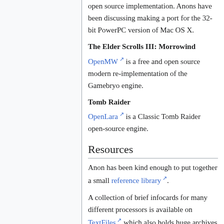open source implementation. Anons have been discussing making a port for the 32-bit PowerPC version of Mac OS X.
The Elder Scrolls III: Morrowind
OpenMW is a free and open source modern re-implementation of the Gamebryo engine.
Tomb Raider
OpenLara is a Classic Tomb Raider open-source engine.
Resources
Anon has been kind enough to put together a small reference library.
A collection of brief infocards for many different processors is available on TextFiles which also holds huge archives relating to programming and